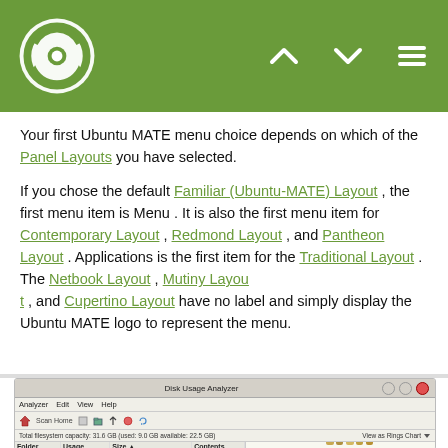Ubuntu MATE header with logo and navigation icons
Your first Ubuntu MATE menu choice depends on which of the Panel Layouts you have selected.

If you chose the default Familiar (Ubuntu-MATE) Layout , the first menu item is Menu . It is also the first menu item for Contemporary Layout , Redmond Layout , and Pantheon Layout . Applications is the first item for the Traditional Layout . The Netbook Layout , Mutiny Layout , and Cupertino Layout have no label and simply display the Ubuntu MATE logo to represent the menu.
[Figure (screenshot): Disk Usage Analyzer application window showing filesystem scan. Total filesystem capacity: 31.6 GB (used: 9.0 GB available: 22.5 GB). Table columns: Folder, Usage, Size, Contents. Rows: / 100% 9.6GB 19 items; usr 58.2% 5.6GB 12 items; var 11.6% 1.1GB 12 items; snap 6.5% 622.3MB 6 items. View as Rings Chart selected.]